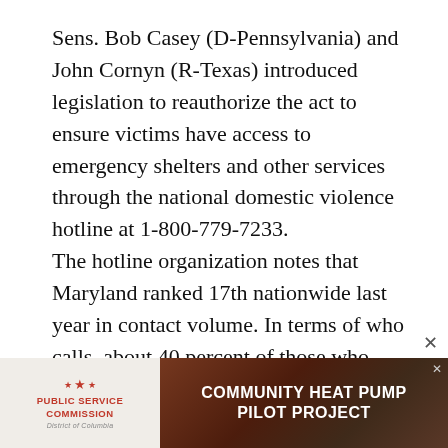Sens. Bob Casey (D-Pennsylvania) and John Cornyn (R-Texas) introduced legislation to reauthorize the act to ensure victims have access to emergency shelters and other services through the national domestic violence hotline at 1-800-779-7233.
The hotline organization notes that Maryland ranked 17th nationwide last year in contact volume. In terms of who calls, about 40 percent of those who used the hotline were White, while 39 percent were Black.
[Figure (infographic): Advertisement banner: Public Service Commission of the District of Columbia logo on the left with red stars, and Community Heat Pump Pilot Project text on the right over an aerial photo background.]